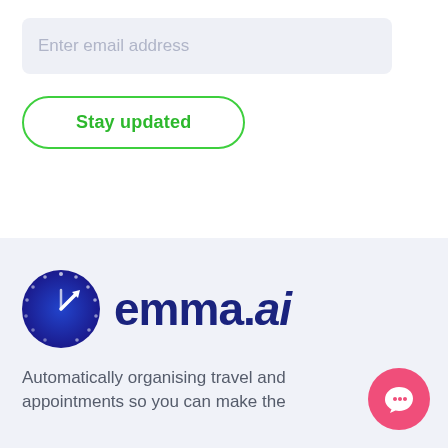[Figure (screenshot): Email input field with placeholder text 'Enter email address' on a light blue-grey background]
[Figure (screenshot): Green outlined rounded button with bold green text 'Stay updated']
[Figure (logo): emma.ai logo — blue circular clock icon followed by bold dark blue text 'emma.ai' with italic 'ai' suffix]
Automatically organising travel and appointments so you can make the